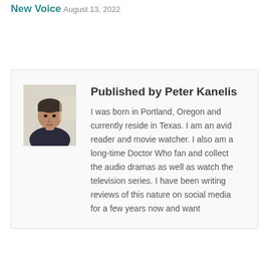New Voice
August 13, 2022
Published by Peter Kanelis
[Figure (photo): Headshot photo of Peter Kanelis, a man in a dark shirt with short dark hair]
I was born in Portland, Oregon and currently reside in Texas. I am an avid reader and movie watcher. I also am a long-time Doctor Who fan and collect the audio dramas as well as watch the television series. I have been writing reviews of this nature on social media for a few years now and want